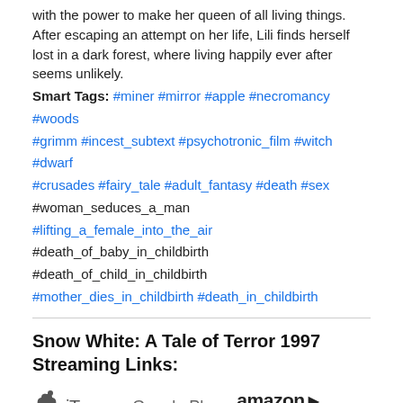with the power to make her queen of all living things. After escaping an attempt on her life, Lili finds herself lost in a dark forest, where living happily ever after seems unlikely.
Smart Tags: #miner #mirror #apple #necromancy #woods #grimm #incest_subtext #psychotronic_film #witch #dwarf #crusades #fairy_tale #adult_fantasy #death #sex #woman_seduces_a_man #lifting_a_female_into_the_air #death_of_baby_in_childbirth #death_of_child_in_childbirth #mother_dies_in_childbirth #death_in_childbirth
Snow White: A Tale of Terror 1997 Streaming Links:
[Figure (logo): iTunes, Google Play, and Amazon Instant Video streaming service logos]
Ratings:
IMDb ★ 6.2/10 Votes: 10,047
🍅 ★ 55%